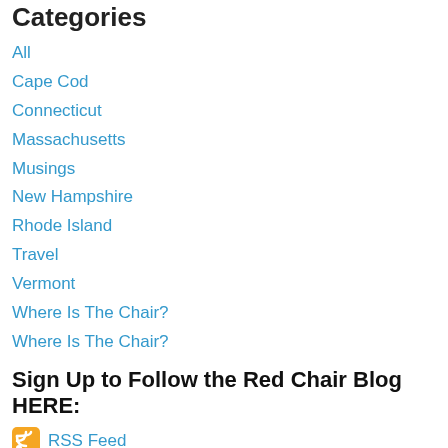Categories
All
Cape Cod
Connecticut
Massachusetts
Musings
New Hampshire
Rhode Island
Travel
Vermont
Where Is The Chair?
Where Is The Chair?
Sign Up to Follow the Red Chair Blog HERE:
RSS Feed
[Figure (logo): Red chair outline illustration in dark red/crimson color, partially visible at the bottom of the page]